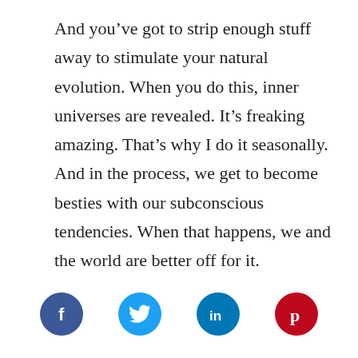And you've got to strip enough stuff away to stimulate your natural evolution. When you do this, inner universes are revealed. It's freaking amazing. That's why I do it seasonally. And in the process, we get to become besties with our subconscious tendencies. When that happens, we and the world are better off for it.
[Figure (infographic): Four social media share buttons: Facebook (dark blue circle with 'f'), Twitter (light blue circle with bird icon), LinkedIn (teal-blue circle with 'in'), Pinterest (red circle with 'p')]